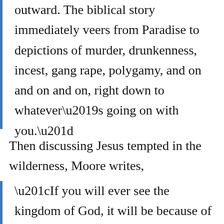outward. The biblical story immediately veers from Paradise to depictions of murder, drunkenness, incest, gang rape, polygamy, and on and on and on, right down to whatever’s going on with you.”
Then discussing Jesus tempted in the wilderness, Moore writes,
“If you will ever see the kingdom of God, it will be because of what happened under